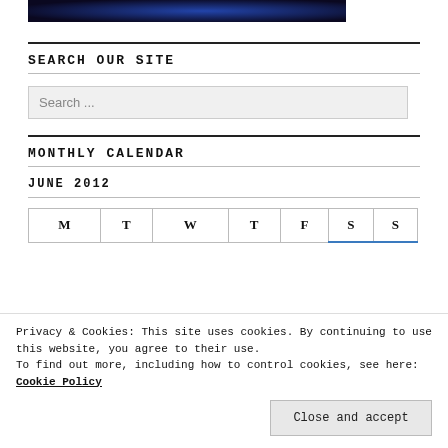[Figure (photo): Dark blue glowing image strip at top of page]
SEARCH OUR SITE
Search ...
MONTHLY CALENDAR
JUNE 2012
| M | T | W | T | F | S | S |
| --- | --- | --- | --- | --- | --- | --- |
Privacy & Cookies: This site uses cookies. By continuing to use this website, you agree to their use.
To find out more, including how to control cookies, see here: Cookie Policy